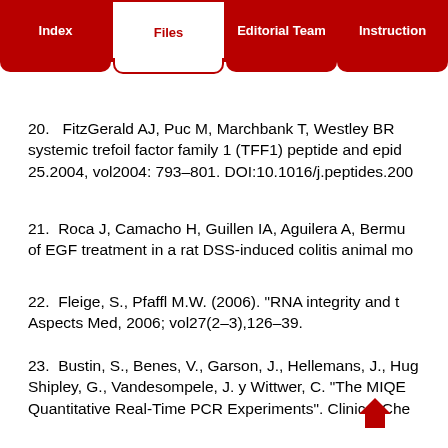Index | Files | Editorial Team | Instructions
20.  FitzGerald AJ, Puc M, Marchbank T, Westley BR systemic trefoil factor family 1 (TFF1) peptide and epid 25.2004, vol2004: 793–801. DOI:10.1016/j.peptides.200
21.  Roca J, Camacho H, Guillen IA, Aguilera A, Bermu of EGF treatment in a rat DSS-induced colitis animal mo
22.  Fleige, S., Pfaffl M.W. (2006). "RNA integrity and t Aspects Med, 2006; vol27(2–3),126–39.
23.  Bustin, S., Benes, V., Garson, J., Hellemans, J., Hug Shipley, G., Vandesompele, J. y Wittwer, C. "The MIQE Quantitative Real-Time PCR Experiments". Clinical Che